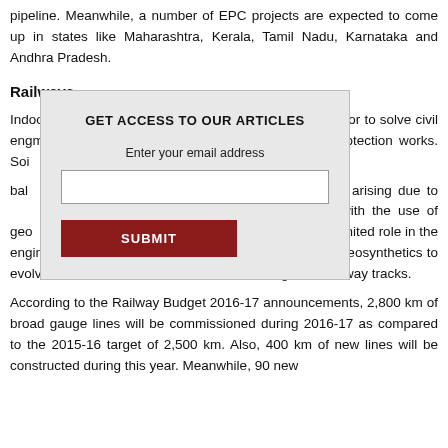pipeline. Meanwhile, a number of EPC projects are expected to come up in states like Maharashtra, Kerala, Tamil Nadu, Karnataka and Andhra Pradesh.
Railways
India has great potential for geosynthetics. Use of geosynthetics in the railway sector to solve civil engineering problems related to embankment and ground protection like slope protection works. Soil reinforcement to stabilize the sub- ballast layer. Prevention of slope cuts arising due to erosion can also be addressed with the use of geosynthetics. However, geosynthetics play a very limited role in the engineering of railway tracks. There is great scope for geosynthetics to evolve safe, economical and sustainable designs for railway tracks.
According to the Railway Budget 2016-17 announcements, 2,800 km of broad gauge lines will be commissioned during 2016-17 as compared to the 2015-16 target of 2,500 km. Also, 400 km of new lines will be constructed during this year. Meanwhile, 90 new